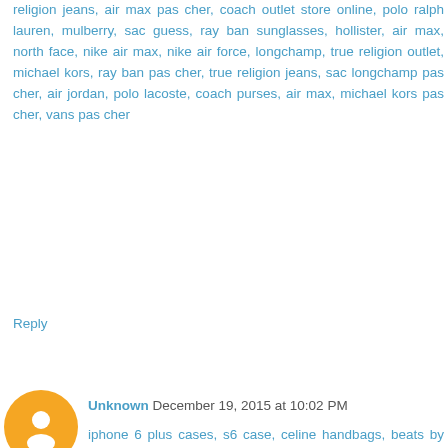religion jeans, air max pas cher, coach outlet store online, polo ralph lauren, mulberry, sac guess, ray ban sunglasses, hollister, air max, north face, nike air max, nike air force, longchamp, true religion outlet, michael kors, ray ban pas cher, true religion jeans, sac longchamp pas cher, air jordan, polo lacoste, coach purses, air max, michael kors pas cher, vans pas cher
Reply
Unknown December 19, 2015 at 10:02 PM
iphone 6 plus cases, s6 case, celine handbags, beats by dre, instyler, wedding dresses, birkin bag, p90x, nike roshe run, ferragamo shoes, vans shoes, abercrombie and fitch, iphone 6s plus cases, iphone cases, ipad cases, soccer jerseys, iphone 6 cases, mcm handbags, lululemon outlet, soccer shoes, reebok outlet, ray ban, oakley, air max, mont blanc, herve leger, ghd, ralph lauren, babyliss pro, valentino shoes, north face outlet, mac cosmetics, north face jackets, timberland boots, air max, abercrombie, louboutin, jimmy choo outlet, nfl jerseys, new balance shoes, vans, iphone 5s cases, iphone 6s cases, giuseppe